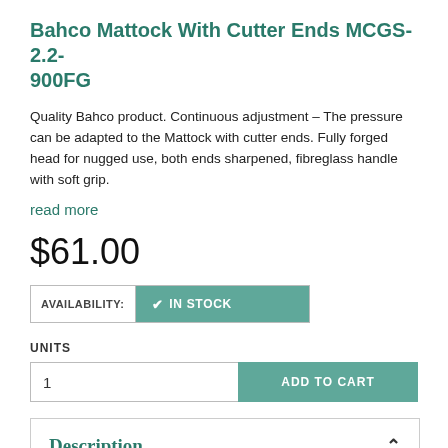Bahco Mattock With Cutter Ends MCGS-2.2-900FG
Quality Bahco product. Continuous adjustment – The pressure can be adapted to the Mattock with cutter ends. Fully forged head for nugged use, both ends sharpened, fibreglass handle with soft grip.
read more
$61.00
AVAILABILITY: IN STOCK
UNITS
1
ADD TO CART
Description